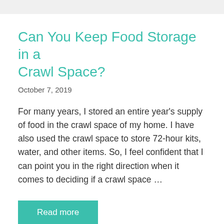Can You Keep Food Storage in a Crawl Space?
October 7, 2019
For many years, I stored an entire year’s supply of food in the crawl space of my home. I have also used the crawl space to store 72-hour kits, water, and other items. So, I feel confident that I can point you in the right direction when it comes to deciding if a crawl space …
Read more